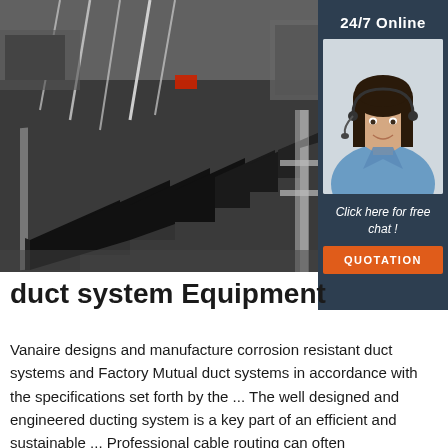[Figure (photo): Factory production line showing rows of black duct system components (chevron/Z-shaped metal profiles) arranged along a conveyor or assembly line, with clear plastic film visible overhead.]
[Figure (photo): Customer service representative, a woman with dark hair wearing a headset and blue shirt, smiling. Shown in a dark blue sidebar panel with '24/7 Online' text and 'Click here for free chat!' call to action, plus an orange QUOTATION button.]
duct system Equipment
Vanaire designs and manufacture corrosion resistant duct systems and Factory Mutual duct systems in accordance with the specifications set forth by the ... The well designed and engineered ducting system is a key part of an efficient and sustainable ... Professional cable routing can often